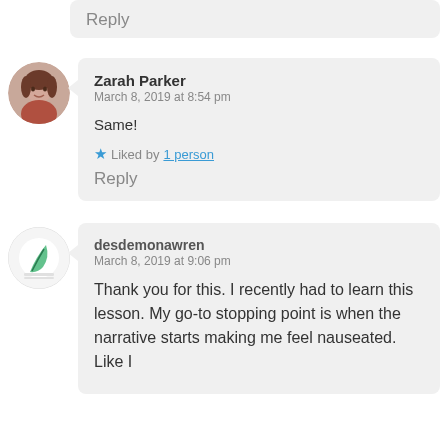Reply
Zarah Parker
March 8, 2019 at 8:54 pm

Same!

Liked by 1 person
Reply
desdemonawren
March 8, 2019 at 9:06 pm

Thank you for this. I recently had to learn this lesson. My go-to stopping point is when the narrative starts making me feel nauseated. Like I